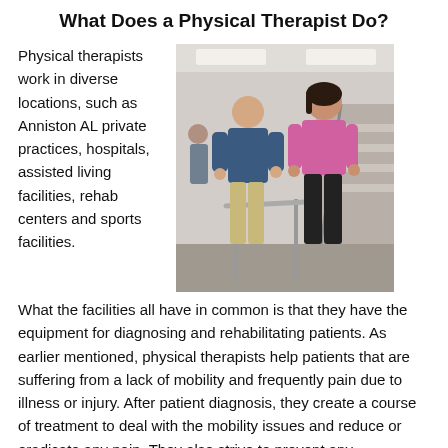What Does a Physical Therapist Do?
Physical therapists work in diverse locations, such as Anniston AL private practices, hospitals, assisted living facilities, rehab centers and sports facilities.
[Figure (photo): A male physical therapist in a blue shirt assisting a female patient in a pink tank top walking between parallel bars in a rehabilitation facility.]
What the facilities all have in common is that they have the equipment for diagnosing and rehabilitating patients. As earlier mentioned, physical therapists help patients that are suffering from a lack of mobility and frequently pain due to illness or injury. After patient diagnosis, they create a course of treatment to deal with the mobility issues and reduce or eradicate any pain. They also strive to prevent any advancement of the disability. While the causes of disability